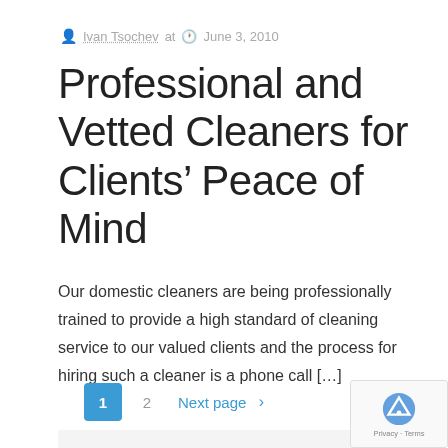Ivan Tsochev at  June 3, 2010
Professional and Vetted Cleaners for Clients' Peace of Mind
Our domestic cleaners are being professionally trained to provide a high standard of cleaning service to our valued clients and the process for hiring such a cleaner is a phone call [...]
Read more
1  2  Next page >